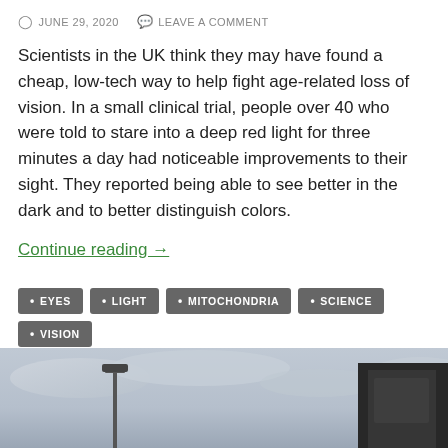JUNE 29, 2020   LEAVE A COMMENT
Scientists in the UK think they may have found a cheap, low-tech way to help fight age-related loss of vision. In a small clinical trial, people over 40 who were told to stare into a deep red light for three minutes a day had noticeable improvements to their sight. They reported being able to see better in the dark and to better distinguish colors.
Continue reading →
EYES
LIGHT
MITOCHONDRIA
SCIENCE
VISION
[Figure (photo): Outdoor photo showing a cloudy sky with a lamppost on the left and a dark structure/building on the right side]